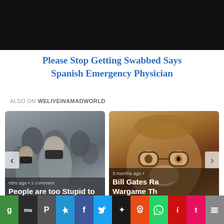[Figure (photo): Dark/black rectangular image at top of page]
Please Stop Getting Swabbed Says Spanish Emergency Physician
ALSO ON WELIVEINAMADWORLD
[Figure (photo): Left card: People wearing masks outdoors. Caption: 'People are too Stupid to Be Free -'. Meta: months ago • 1 comment]
[Figure (photo): Right card: Close-up of monkey wearing glasses. Caption: 'Bill Gates Ra... Wargame Th... Simulated ...'. Meta: 3 months ago •]
[Figure (other): Social sharing bar with icons: Google, MeWe, Parler, Telegram, Facebook, Twitter, Mastadon, Reddit, WhatsApp, Invert, Tumblr, scroll]